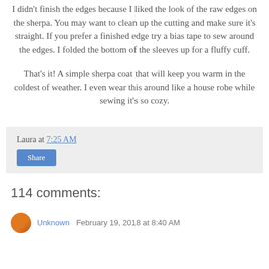I didn't finish the edges because I liked the look of the raw edges on the sherpa. You may want to clean up the cutting and make sure it's straight. If you prefer a finished edge try a bias tape to sew around the edges. I folded the bottom of the sleeves up for a fluffy cuff.
That's it! A simple sherpa coat that will keep you warm in the coldest of weather. I even wear this around like a house robe while sewing it's so cozy.
Laura at 7:25 AM
Share
114 comments:
Unknown   February 19, 2018 at 8:40 AM